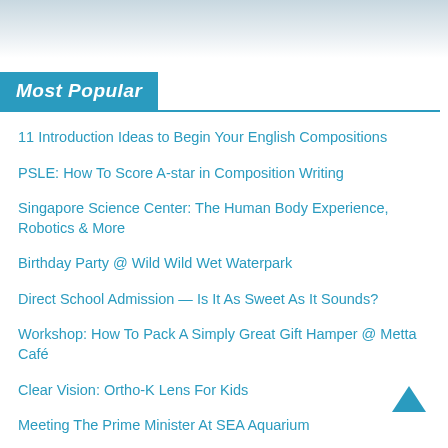[Figure (photo): Partial photo strip at top of page, light blue/grey tones]
Most Popular
11 Introduction Ideas to Begin Your English Compositions
PSLE: How To Score A-star in Composition Writing
Singapore Science Center: The Human Body Experience, Robotics & More
Birthday Party @ Wild Wild Wet Waterpark
Direct School Admission — Is It As Sweet As It Sounds?
Workshop: How To Pack A Simply Great Gift Hamper @ Metta Café
Clear Vision: Ortho-K Lens For Kids
Meeting The Prime Minister At SEA Aquarium
Birthday Party @ Universal Studios Singapore